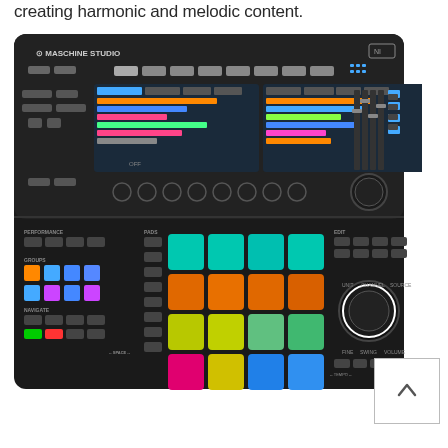creating harmonic and melodic content.
[Figure (photo): Native Instruments Maschine Studio hardware controller with dual LCD screens, colorful velocity-sensitive pads (teal, orange, yellow, pink, blue), knobs, buttons, group selector buttons, and large navigation encoder. The device is black with various labeled controls including Performance, Groups, Navigate sections.]